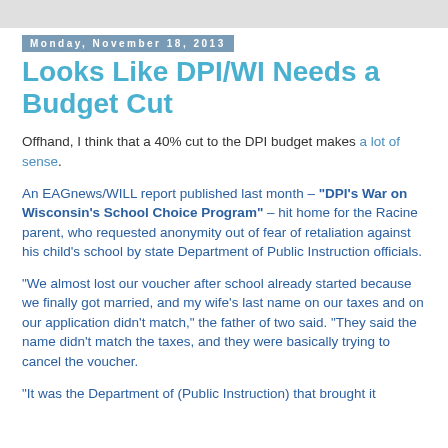Monday, November 18, 2013
Looks Like DPI/WI Needs a Budget Cut
Offhand, I think that a 40% cut to the DPI budget makes a lot of sense.
An EAGnews/WILL report published last month – "DPI's War on Wisconsin's School Choice Program" – hit home for the Racine parent, who requested anonymity out of fear of retaliation against his child's school by state Department of Public Instruction officials.
"We almost lost our voucher after school already started because we finally got married, and my wife's last name on our taxes and on our application didn't match," the father of two said. "They said the name didn't match the taxes, and they were basically trying to cancel the voucher.
"It was the Department of (Public Instruction) that brought it